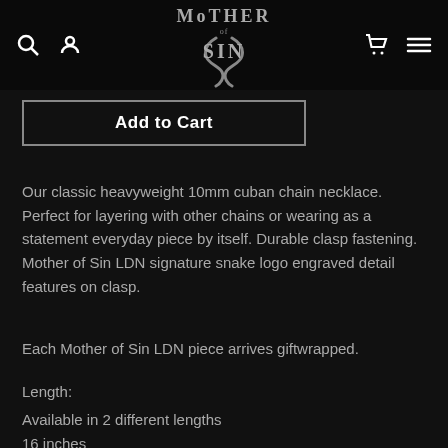Mother of Sin — navigation header with logo, search, account, cart, and menu icons
[Figure (logo): Mother of Sin logo with decorative snake illustration in grey on black background]
Add to Cart
Our classic heavyweight 10mm cuban chain necklace. Perfect for layering with other chains or wearing as a statement everyday piece by itself. Durable clasp fastening. Mother of Sin LDN signature snake logo engraved detail features on clasp.
Each Mother of Sin LDN piece arrives giftwrapped.
Length:
Available in 2 different lengths
16 inches